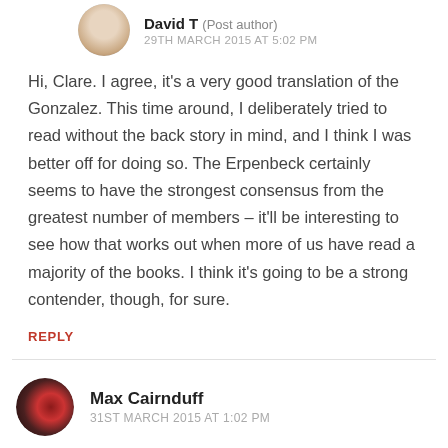David T (Post author)
29TH MARCH 2015 AT 5:02 PM
Hi, Clare. I agree, it's a very good translation of the Gonzalez. This time around, I deliberately tried to read without the back story in mind, and I think I was better off for doing so. The Erpenbeck certainly seems to have the strongest consensus from the greatest number of members – it'll be interesting to see how that works out when more of us have read a majority of the books. I think it's going to be a strong contender, though, for sure.
REPLY
Max Cairnduff
31ST MARCH 2015 AT 1:02 PM
The Erpenbeck sounds very good. Reminiscent as pointed out of Life after Life, but a different approach and there's